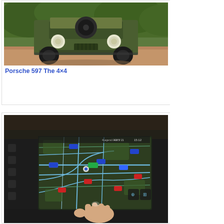[Figure (photo): Front view of a dark olive green Porsche 597 Jagdwagen military 4x4 vehicle parked on a reddish-brown surface with green hedge in background]
Porsche 597 The 4×4
[Figure (photo): Interior dashboard shot of a car showing a large touchscreen infotainment display with a GPS navigation map, a hand touching the screen, and car interior controls visible on the left]